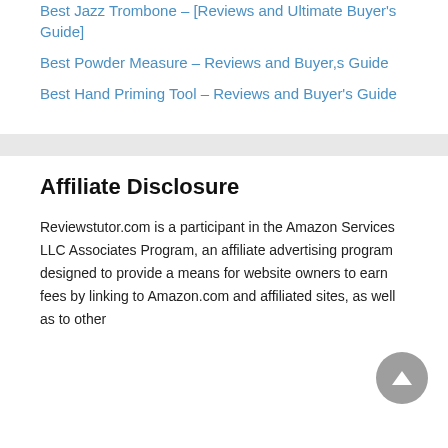Best Jazz Trombone – [Reviews and Ultimate Buyer's Guide]
Best Powder Measure – Reviews and Buyer,s Guide
Best Hand Priming Tool – Reviews and Buyer's Guide
Affiliate Disclosure
Reviewstutor.com is a participant in the Amazon Services LLC Associates Program, an affiliate advertising program designed to provide a means for website owners to earn fees by linking to Amazon.com and affiliated sites, as well as to other